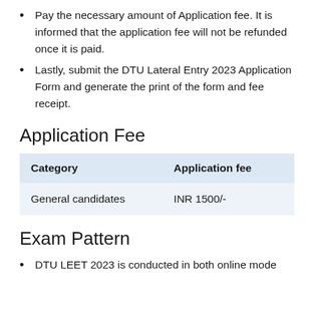Pay the necessary amount of Application fee. It is informed that the application fee will not be refunded once it is paid.
Lastly, submit the DTU Lateral Entry 2023 Application Form and generate the print of the form and fee receipt.
Application Fee
| Category | Application fee |
| --- | --- |
| General candidates | INR 1500/- |
Exam Pattern
DTU LEET 2023 is conducted in both online mode (Computer Based Test) or offline (Pen and Paper)...